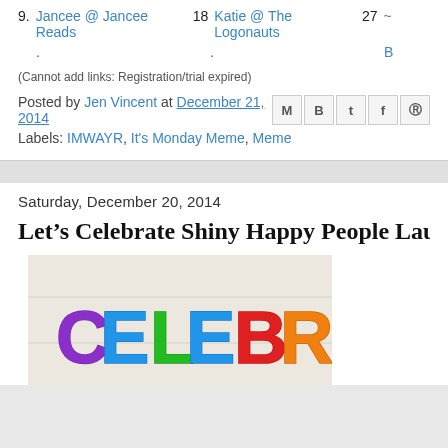9. Jancee @ Jancee Reads   18. Katie @ The Logonauts   27. ~B
(Cannot add links: Registration/trial expired)
Posted by Jen Vincent at December 21, 2014
Labels: IMWAYR, It's Monday Meme, Meme
Saturday, December 20, 2014
Let's Celebrate Shiny Happy People Laughing
[Figure (photo): Colorful hand-painted letters spelling CELEBR... on a light background, with letters in purple, blue, green, red, and orange colors]